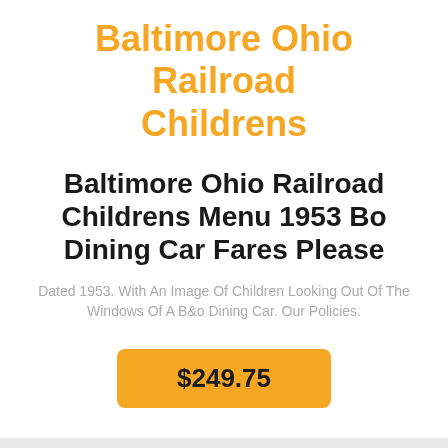Baltimore Ohio Railroad Childrens
Baltimore Ohio Railroad Childrens Menu 1953 Bo Dining Car Fares Please
Dated 1953. With An Image Of Children Looking Out Of The Windows Of A B&o Dining Car. Our Policies.
$249.75
[Figure (photo): Partial image of a Philadelphia-related item, showing the word PHILADELPHIA with a green background below and a dark top section with a circular element.]